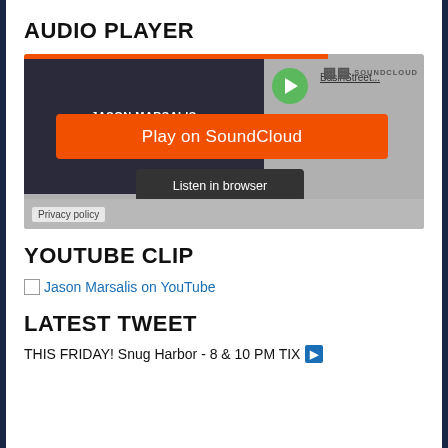AUDIO PLAYER
[Figure (screenshot): SoundCloud embedded audio player widget showing Jason Marsalis album art, a green play button, 'BasinStreet...' track name, SoundCloud logo, an orange 'Play on SoundCloud' button, a dark 'Listen in browser' button, and a Privacy policy bar at the bottom.]
YOUTUBE CLIP
Jason Marsalis on YouTube
LATEST TWEET
THIS FRIDAY! Snug Harbor - 8 & 10 PM TIX ➡